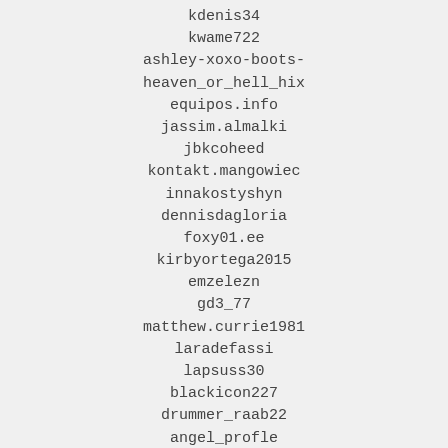kdenis34
kwame722
ashley-xoxo-boots-
heaven_or_hell_hix
equipos.info
jassim.almalki
jbkcoheed
kontakt.mangowiec
innakostyshyn
dennisdagloria
foxy01.ee
kirbyortega2015
emzelezn
gd3_77
matthew.currie1981
laradefassi
lapsuss30
blackicon227
drummer_raab22
angel_profle
bbyhy
dragana_k88
janefmac
femke_o